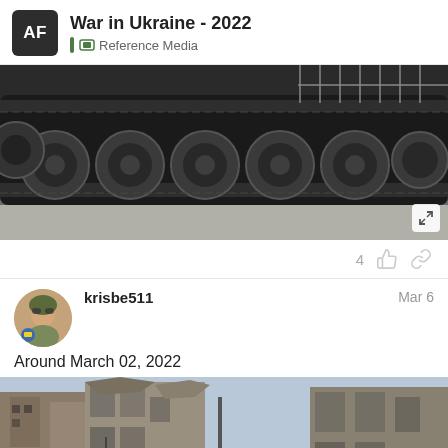War in Ukraine - 2022 | Reference Media
[Figure (photo): Close-up black and white photo of military tank tracks and road wheels from below]
4
krisbe511   Mar 6
Around March 02, 2022
[Figure (photo): War damage photo showing destroyed buildings in a city, with military vehicles and soldiers in foreground]
7 / 179